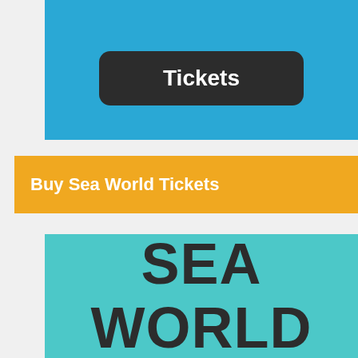[Figure (infographic): Top blue banner section with a dark rounded button labeled 'Tickets']
Tickets
Buy Sea World Tickets
[Figure (infographic): Teal/cyan lower section with large bold text reading 'SEA WORLD']